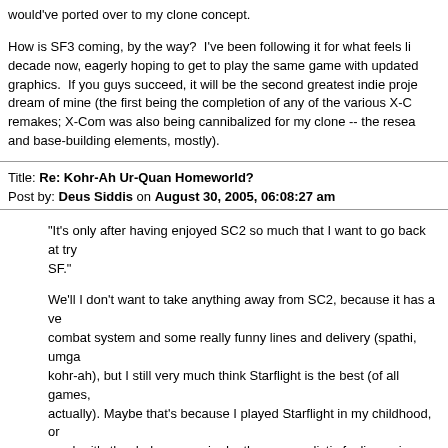would've ported over to my clone concept.

How is SF3 coming, by the way?  I've been following it for what feels like a decade now, eagerly hoping to get to play the same game with updated graphics.  If you guys succeed, it will be the second greatest indie project dream of mine (the first being the completion of any of the various X-Com remakes; X-Com was also being cannibalized for my clone -- the research and base-building elements, mostly).
Title: Re: Kohr-Ah Ur-Quan Homeworld?
Post by: Deus Siddis on August 30, 2005, 06:08:27 am
"It's only after having enjoyed SC2 so much that I want to go back at try SF."

We'll I don't want to take anything away from SC2, because it has a very combat system and some really funny lines and delivery (spathi, umga kohr-ah), but I still very much think Starflight is the best (of all games, actually). Maybe that's because I played Starflight in my childhood, or maybe it's the darker, more in depth, more realistic feeling universe. But you like SC2 even though you find it somewhat shallow, you might like relike) Starflight and maybe the lighter Starflight 2. BTW, do you still ha an old mac to run it on?


"I had actually worked (pretty seriously) on a SC/SF clone for a while,"

Was there a website for your project?